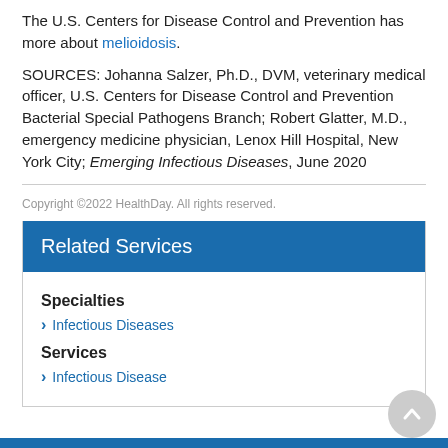The U.S. Centers for Disease Control and Prevention has more about melioidosis.
SOURCES: Johanna Salzer, Ph.D., DVM, veterinary medical officer, U.S. Centers for Disease Control and Prevention Bacterial Special Pathogens Branch; Robert Glatter, M.D., emergency medicine physician, Lenox Hill Hospital, New York City; Emerging Infectious Diseases, June 2020
Copyright ©2022 HealthDay. All rights reserved.
Related Services
Specialties
Infectious Diseases
Services
Infectious Disease